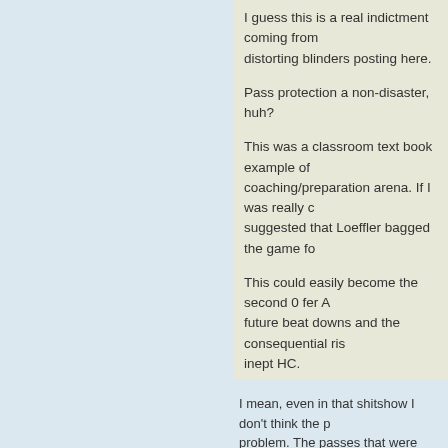I guess this is a real indictment coming from distorting blinders posting here.
Pass protection a non-disaster, huh?
This was a classroom text book example of coaching/preparation arena. If I was really c suggested that Loeffler bagged the game fo
This could easily become the second 0 fer future beat downs and the consequential ri inept HC.
I mean, even in that shitshow I don't think the p problem. The passes that were being protecte
zzz
Re: Time to dump the dazzler thread
by dtwalrus on Sat Sep 17, 2016 6:07 pm